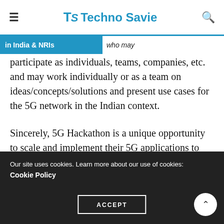TS Techno Savie
in India & NRIs who may participate as individuals, teams, companies, etc. and may work individually or as a team on ideas/concepts/solutions and present use cases for the 5G network in the Indian context.
Sincerely, 5G Hackathon is a unique opportunity to scale and implement their 5G applications to make them market ready with the support of DoT, MeitY and a number of leading industry, academia, Telcos/OEMs.
Our site uses cookies. Learn more about our use of cookies: Cookie Policy ACCEPT